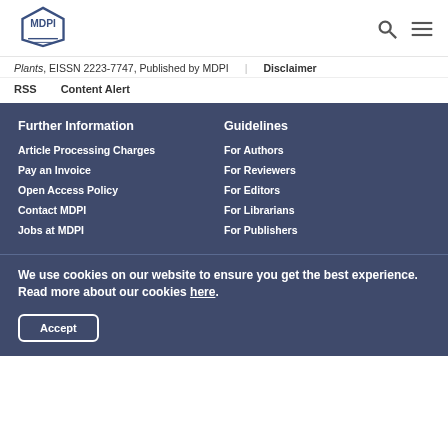[Figure (logo): MDPI hexagonal logo with text MDPI inside]
Plants, EISSN 2223-7747, Published by MDPI    Disclaimer
RSS    Content Alert
Further Information
Guidelines
Article Processing Charges
For Authors
Pay an Invoice
For Reviewers
Open Access Policy
For Editors
Contact MDPI
For Librarians
Jobs at MDPI
For Publishers
We use cookies on our website to ensure you get the best experience. Read more about our cookies here.
Accept